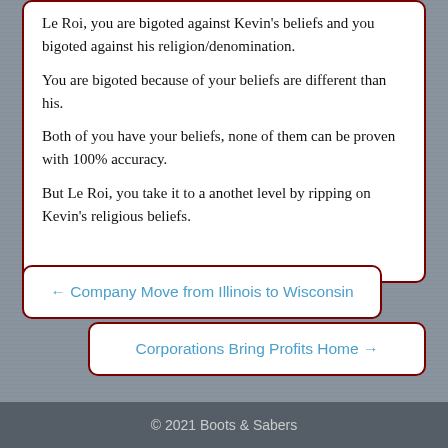Le Roi, you are bigoted against Kevin's beliefs and you bigoted against his religion/denomination.
You are bigoted because of your beliefs are different than his.
Both of you have your beliefs, none of them can be proven with 100% accuracy.
But Le Roi, you take it to a anothet level by ripping on Kevin's religious beliefs.
← Company Move from Illinois to Wisconsin
Corporations Bring Profits Home →
© 2021 Boots & Sabers